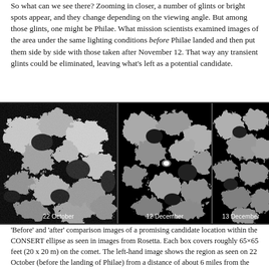So what can we see there? Zooming in closer, a number of glints or bright spots appear, and they change depending on the viewing angle. But among those glints, one might be Philae. What mission scientists examined images of the area under the same lighting conditions before Philae landed and then put them side by side with those taken after November 12. That way any transient glints could be eliminated, leaving what's left as a potential candidate.
[Figure (photo): Three side-by-side grayscale images of a comet surface showing 'before' and 'after' comparison. Left panel labeled '22 October', center panel labeled '12 December', right panel labeled '13 December'. Images show rocky/granular comet terrain in black and white.]
'Before' and 'after' comparison images of a promising candidate location within the CONSERT ellipse as seen in images from Rosetta. Each box covers roughly 65×65 feet (20 x 20 m) on the comet. The left-hand image shows the region as seen on 22 October (before the landing of Philae) from a distance of about 6 miles from the center of the comet, while the center and right-hand images show the same region on December 12 and 13 from 12 miles after landing. The candidate is only seen in the two later pictures.